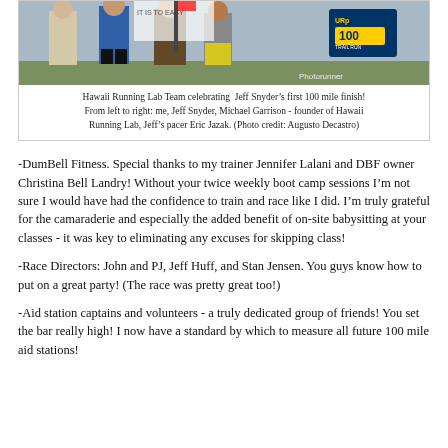[Figure (photo): Group photo of Hawaii Running Lab Team at a trail run finish area, with race signage visible including 'URp 100 Trail Run' logo and Photorunner watermark.]
Hawaii Running Lab Team celebrating Jeff Snyder’s first 100 mile finish! From left to right: me, Jeff Snyder, Michael Garrison - founder of Hawaii Running Lab, Jeff’s pacer Eric Jazak. (Photo credit: Augusto Decastro)
-DumBell Fitness. Special thanks to my trainer Jennifer Lalani and DBF owner Christina Bell Landry! Without your twice weekly boot camp sessions I’m not sure I would have had the confidence to train and race like I did. I’m truly grateful for the camaraderie and especially the added benefit of on-site babysitting at your classes - it was key to eliminating any excuses for skipping class!
-Race Directors: John and PJ, Jeff Huff, and Stan Jensen. You guys know how to put on a great party! (The race was pretty great too!)
-Aid station captains and volunteers - a truly dedicated group of friends! You set the bar really high! I now have a standard by which to measure all future 100 mile aid stations!